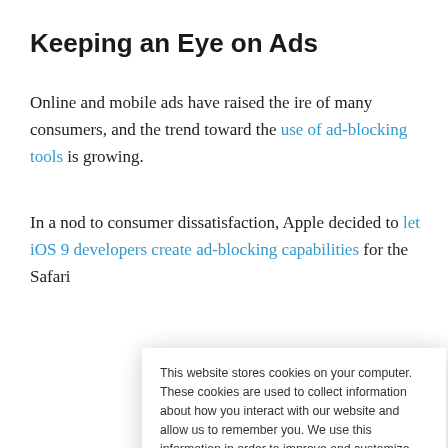Keeping an Eye on Ads
Online and mobile ads have raised the ire of many consumers, and the trend toward the use of ad-blocking tools is growing.
In a nod to consumer dissatisfaction, Apple decided to let iOS 9 developers create ad-blocking capabilities for the Safari [truncated]
This website stores cookies on your computer. These cookies are used to collect information about how you interact with our website and allow us to remember you. We use this information in order to improve and customize your browsing experience and for analytics and metrics about our visitors both on this website and other media. To find out more about the cookies we use, see our Privacy Policy. California residents have the right to direct us not to sell their personal information to third parties by filing an Opt-Out Request: Do Not Sell My Personal Info.
Accept